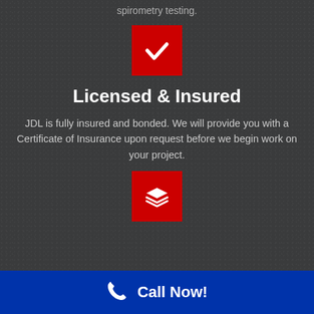spirometry testing.
[Figure (illustration): Red square icon with white checkmark]
Licensed & Insured
JDL is fully insured and bonded. We will provide you with a Certificate of Insurance upon request before we begin work on your project.
[Figure (illustration): Red square icon with white stacked layers symbol]
Call Now!